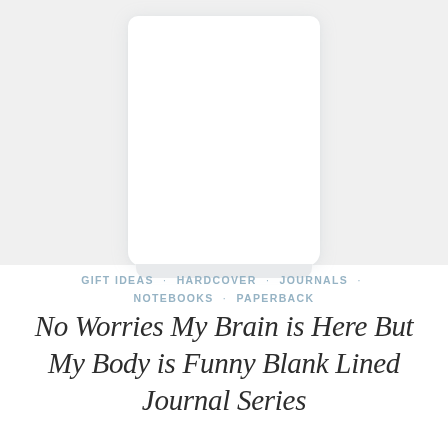[Figure (photo): Product photo area showing a white/blank notebook or journal with rounded corners against a light gray background, viewed from slightly above.]
GIFT IDEAS · HARDCOVER · JOURNALS · NOTEBOOKS · PAPERBACK
No Worries My Brain is Here But My Body is Funny Blank Lined Journal Series